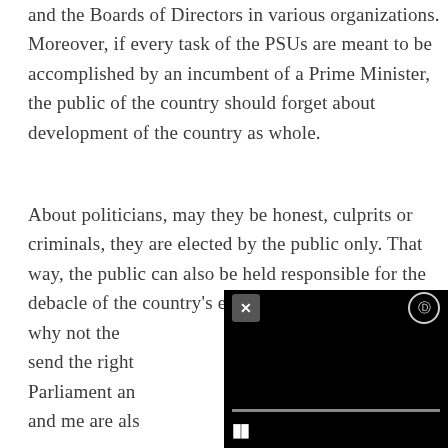and the Boards of Directors in various organizations. Moreover, if every task of the PSUs are meant to be accomplished by an incumbent of a Prime Minister, the public of the country should forget about development of the country as whole.
About politicians, may they be honest, culprits or criminals, they are elected by the public only. That way, the public can also be held responsible for the debacle of the country's economic conditions, as to why not the... send the right... Parliament an... and me are als...
[Figure (screenshot): A black video player overlay with a close (X) button on the top left, a settings/info button on the top right, a horizontal progress bar in the middle, and a pause button at the bottom left.]